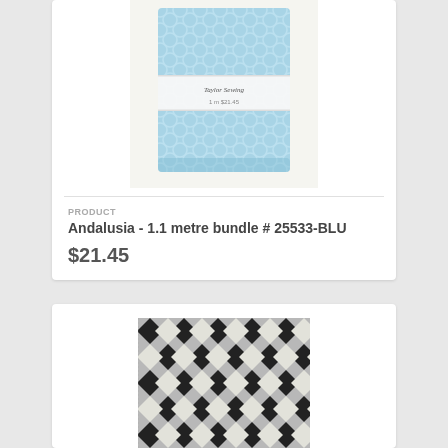[Figure (photo): Folded blue floral fabric bundle with a white paper band label, photographed on a white background]
PRODUCT
Andalusia - 1.1 metre bundle # 25533-BLU
$21.45
[Figure (photo): Black, white and grey diamond/harlequin patterned quilt or fabric, photographed from above showing repeating diagonal checkerboard design]